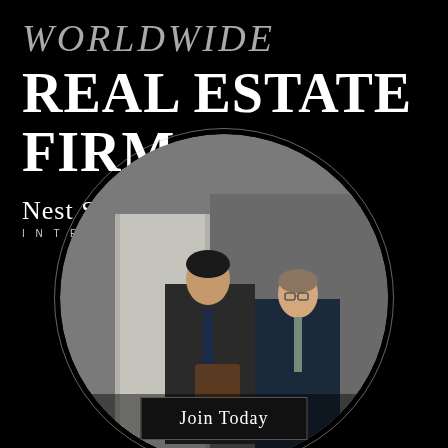WORLDWIDE REAL ESTATE FIRM.
Nest Seekers INTERNATIONAL
[Figure (photo): Two businessmen in suits reviewing a document/tablet together, with a concrete pillar in the background. Image is shown inside a circular frame with decorative concentric ring borders.]
Join Today